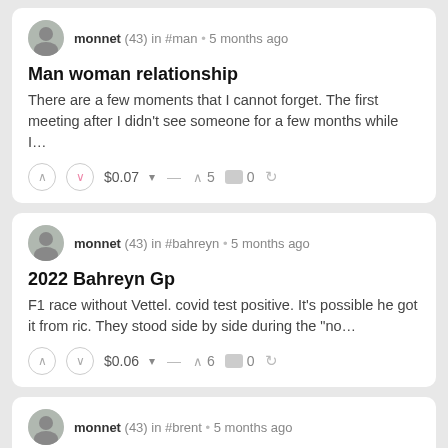monnet (43) in #man • 5 months ago
Man woman relationship
There are a few moments that I cannot forget. The first meeting after I didn't see someone for a few months while I...
$0.07 ▲ 5 0
monnet (43) in #bahreyn • 5 months ago
2022 Bahreyn Gp
F1 race without Vettel. covid test positive. It's possible he got it from ric. They stood side by side during the "no...
$0.06 ▲ 6 0
monnet (43) in #brent • 5 months ago
brent oil
It was a bit ridiculous that it went up to $140 anyway. As far as I know, energy imports from Russia are not subject...